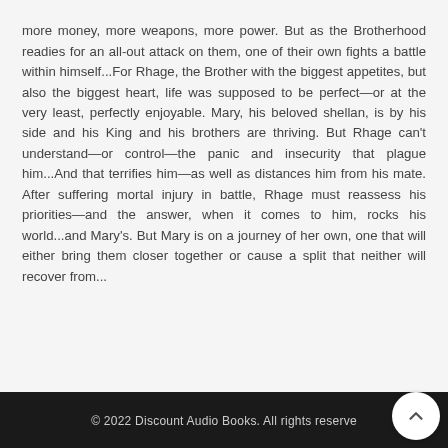more money, more weapons, more power. But as the Brotherhood readies for an all-out attack on them, one of their own fights a battle within himself...For Rhage, the Brother with the biggest appetites, but also the biggest heart, life was supposed to be perfect—or at the very least, perfectly enjoyable. Mary, his beloved shellan, is by his side and his King and his brothers are thriving. But Rhage can't understand—or control—the panic and insecurity that plague him...And that terrifies him—as well as distances him from his mate. After suffering mortal injury in battle, Rhage must reassess his priorities—and the answer, when it comes to him, rocks his world...and Mary's. But Mary is on a journey of her own, one that will either bring them closer together or cause a split that neither will recover from...
© 2022 Discount Audio Books. All rights reserved.